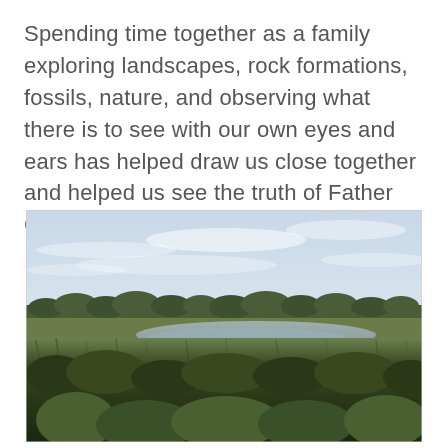Spending time together as a family exploring landscapes, rock formations, fossils, nature, and observing what there is to see with our own eyes and ears has helped draw us close together and helped us see the truth of Father God our Creator.
[Figure (photo): A wide landscape photograph showing a coastal marsh or wetland scene. In the foreground is dense dark marsh grass and vegetation. The middle ground shows a flat expanse of water and green marsh grass. In the background is a treeline under a large pale cloudy sky.]